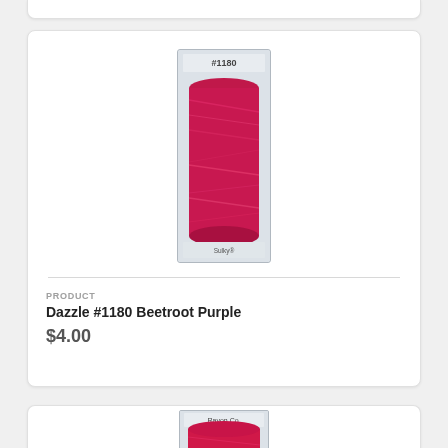[Figure (photo): A spool of magenta/beetroot pink metallic thread (Dazzle #1180 Beetroot Purple) on a card, labeled #1180 at the top.]
PRODUCT
Dazzle #1180 Beetroot Purple
$4.00
[Figure (photo): Partial view of another spool of thread at the bottom of the page (similar pink/red color), card labeled Rayon Co.]